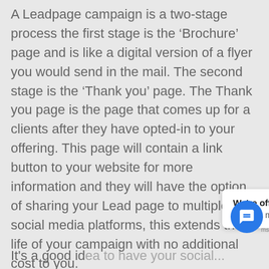A Leadpage campaign is a two-stage process the first stage is the 'Brochure' page and is like a digital version of a flyer you would send in the mail. The second stage is the 'Thank you' page. The Thank you page is the page that comes up for a clients after they have opted-in to your offering. This page will contain a link button to your website for more information and they will have the option of sharing your Lead page to multiple social media platforms, this extends the life of your campaign with no additional cost to you.
[Figure (screenshot): Chat widget popup showing 'We're offline / Leave a message' with a blue circular chat button icon]
It's a good id... to have your social...